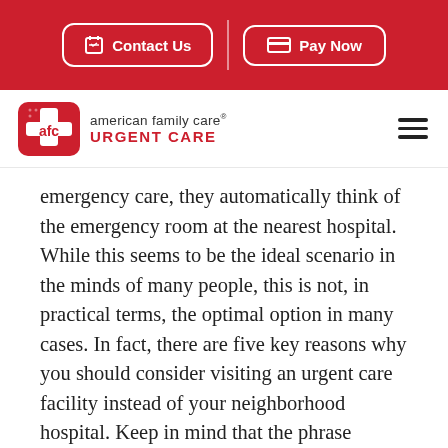Contact Us | Pay Now
[Figure (logo): American Family Care Urgent Care logo with AFC shield icon]
emergency care, they automatically think of the emergency room at the nearest hospital. While this seems to be the ideal scenario in the minds of many people, this is not, in practical terms, the optimal option in many cases. In fact, there are five key reasons why you should consider visiting an urgent care facility instead of your neighborhood hospital. Keep in mind that the phrase “neighborhood hospital” is ...
Read More About This Topic